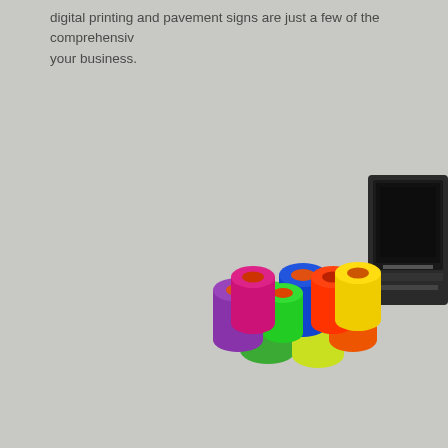digital printing and pavement signs are just a few of the comprehensive... your business.
[Figure (photo): Colorful rolls of vinyl or similar material (green, yellow, orange, purple, blue, red) piled together with a dark printer/plotter machine partially visible in the upper right corner, set against a grey background.]